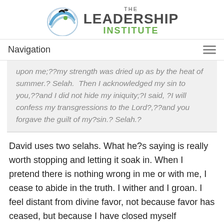[Figure (logo): The Leadership Institute logo with bird/circle graphic and green/gray text]
Navigation
upon me;??my strength was dried up as by the heat of summer.? Selah. Then I acknowledged my sin to you,??and I did not hide my iniquity;?I said, ?I will confess my transgressions to the Lord?,??and you forgave the guilt of my?sin.? Selah.?
David uses two selahs. What he?s saying is really worth stopping and letting it soak in. When I pretend there is nothing wrong in me or with me, I cease to abide in the truth. I wither and I groan. I feel distant from divine favor, not because favor has ceased, but because I have closed myself